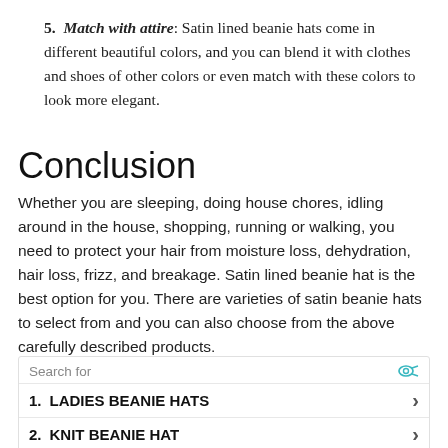5. Match with attire: Satin lined beanie hats come in different beautiful colors, and you can blend it with clothes and shoes of other colors or even match with these colors to look more elegant.
Conclusion
Whether you are sleeping, doing house chores, idling around in the house, shopping, running or walking, you need to protect your hair from moisture loss, dehydration, hair loss, frizz, and breakage. Satin lined beanie hat is the best option for you. There are varieties of satin beanie hats to select from and you can also choose from the above carefully described products.
Search for | 1. LADIES BEANIE HATS | 2. KNIT BEANIE HAT | Yahoo! Search | Sponsored